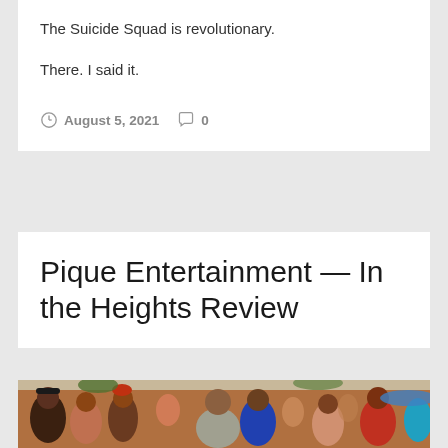The Suicide Squad is revolutionary.
There. I said it.
August 5, 2021   0
Pique Entertainment — In the Heights Review
[Figure (photo): A colorful outdoor scene with a large group of people dancing and celebrating on a city street, from the movie In the Heights.]